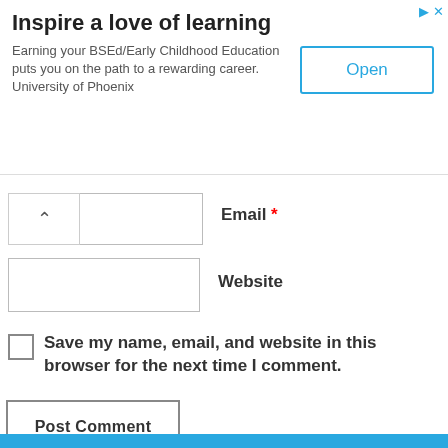[Figure (other): Advertisement banner: 'Inspire a love of learning' — University of Phoenix ad with Open button]
Email *
Website
Save my name, email, and website in this browser for the next time I comment.
Post Comment
« Preventing Hayward Super Pump Suction Leaks
Intermatic Pool Timer Troubleshooting & Repair Guide »